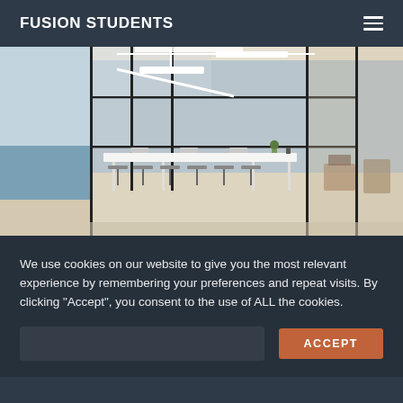FUSION STUDENTS
[Figure (photo): Modern student study room with glass partition walls, long white communal table, grey bar stools, pendant and track lighting, and a view of water/skyline through the window on the left.]
We use cookies on our website to give you the most relevant experience by remembering your preferences and repeat visits. By clicking "Accept", you consent to the use of ALL the cookies.
ACCEPT